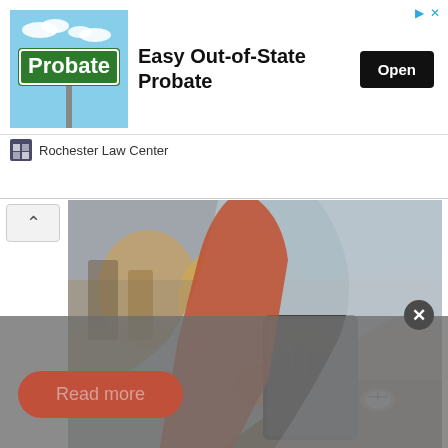[Figure (screenshot): Advertisement banner for 'Easy Out-of-State Probate' by Rochester Law Center, featuring a green street sign with 'Probate' text and an 'Open' button]
[Figure (photo): Person holding a tablet/device, wearing a watch and casual clothing, outdoors with blurred background]
Finance is a term for matters regarding the management, creation, and study of money and investments. It involves the use of credit and debt, securities, and investment to finance current ...